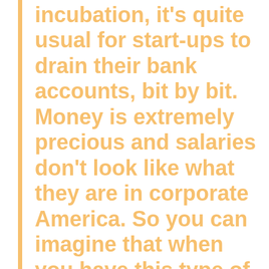incubation, it's quite usual for start-ups to drain their bank accounts, bit by bit. Money is extremely precious and salaries don't look like what they are in corporate America. So you can imagine that when you have this type of government mandate on start-ups, the speed